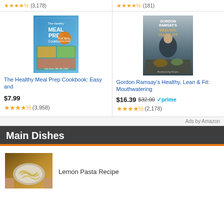[Figure (screenshot): Top bar showing star ratings and review counts: left side stars with (3,178), right side stars with (181)]
[Figure (photo): The Healthy Meal Prep Cookbook book cover with colorful food prep containers]
The Healthy Meal Prep Cookbook: Easy and
$7.99
★★★★½ (3,958)
[Figure (photo): Gordon Ramsay's Healthy, Lean & Fit book cover showing Gordon Ramsay standing with food]
Gordon Ramsay's Healthy, Lean & Fit: Mouthwatering
$16.39 $32.00 ✓prime
★★★★½ (2,178)
Ads by Amazon
Main Dishes
[Figure (photo): Thumbnail photo of lemon pasta on a plate, being held by hands]
Lemon Pasta Recipe